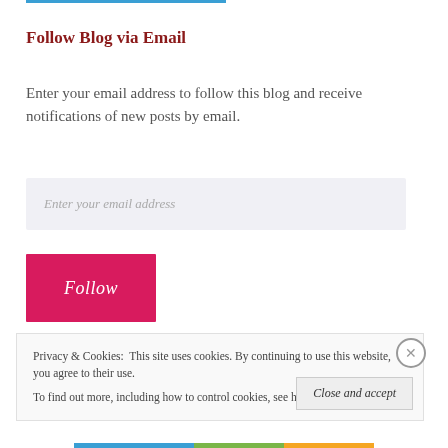Follow Blog via Email
Enter your email address to follow this blog and receive notifications of new posts by email.
Enter your email address
Follow
Privacy & Cookies:  This site uses cookies. By continuing to use this website, you agree to their use.
To find out more, including how to control cookies, see here: Cookie Policy
Close and accept